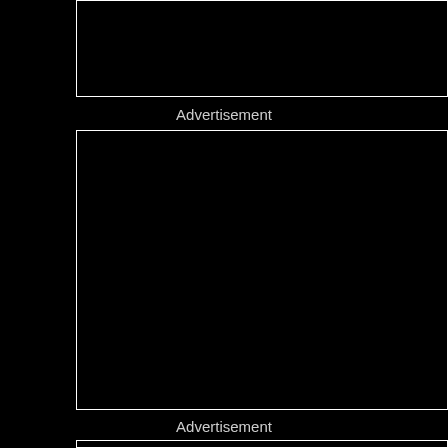[Figure (other): Black advertisement placeholder box at top]
Advertisement
[Figure (other): Black advertisement placeholder box in middle]
Advertisement
[Figure (other): Black advertisement placeholder box at bottom]